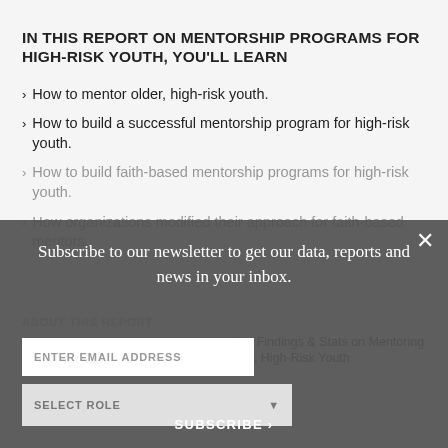IN THIS REPORT ON MENTORSHIP PROGRAMS FOR HIGH-RISK YOUTH, YOU'LL LEARN
How to mentor older, high-risk youth.
How to build a successful mentorship program for high-risk youth.
How to build faith-based mentorship programs for high-risk youth.
How organizations modified their approach for faith-based mentors.
ABOUT THIS REPORT
Summary
Table of Contents
Key Findings & Stats on Mentoring Older, High-Risk Youth
Subscribe to our newsletter to get our data, reports and news in your inbox.
ENTER EMAIL ADDRESS
SELECT ROLE
SUBSCRIBE ›